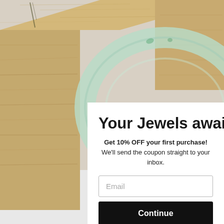[Figure (photo): Background photo of a jade bangle bracelet resting on a wooden block display stand against a white/grey surface. The jade bangle is pale translucent green with deeper green flecks.]
Your Jewels await!
Get 10% OFF your first purchase!
We'll send the coupon straight to your inbox.
Email
Continue